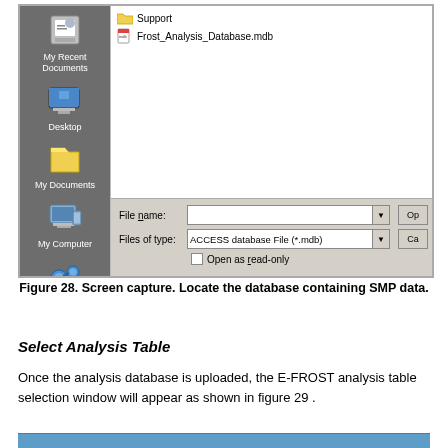[Figure (screenshot): Windows XP Open File dialog showing a file browser with sidebar icons (My Recent Documents, Desktop, My Documents, My Computer, My Network Places) and files listed: Support folder and Frost_Analysis_Database.mdb. Bottom has File name and Files of type fields with dropdown arrows, and Open as read-only checkbox.]
Figure 28. Screen capture. Locate the database containing SMP data.
Select Analysis Table
Once the analysis database is uploaded, the E-FROST analysis table selection window will appear as shown in figure 29 .